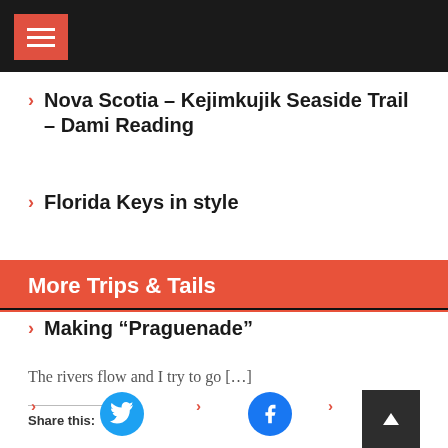Nova Scotia – Kejimkujik Seaside Trail – Dami Reading
Florida Keys in style
More Trips & Tails
Making “Praguenade”
The rivers flow and I try to go […]
Share this: